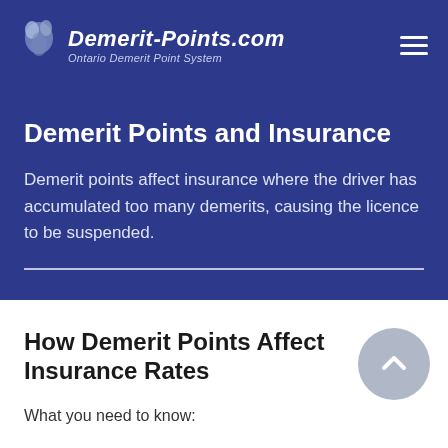Demerit-Points.com — Ontario Demerit Point System
Demerit Points and Insurance
Demerit points affect insurance where the driver has accumulated too many demerits, causing the licence to be suspended.
How Demerit Points Affect Insurance Rates
What you need to know: